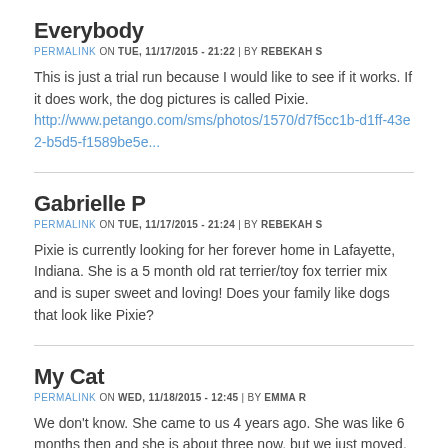Everybody
PERMALINK ON TUE, 11/17/2015 - 21:22 | BY REBEKAH S
This is just a trial run because I would like to see if it works. If it does work, the dog pictures is called Pixie. http://www.petango.com/sms/photos/1570/d7f5cc1b-d1ff-43e2-b5d5-f1589be5e...
Gabrielle P
PERMALINK ON TUE, 11/17/2015 - 21:24 | BY REBEKAH S
Pixie is currently looking for her forever home in Lafayette, Indiana. She is a 5 month old rat terrier/toy fox terrier mix and is super sweet and loving! Does your family like dogs that look like Pixie?
My Cat
PERMALINK ON WED, 11/18/2015 - 12:45 | BY EMMA R
We don't know. She came to us 4 years ago. She was like 6 months then and she is about three now, but we just moved, so there is a